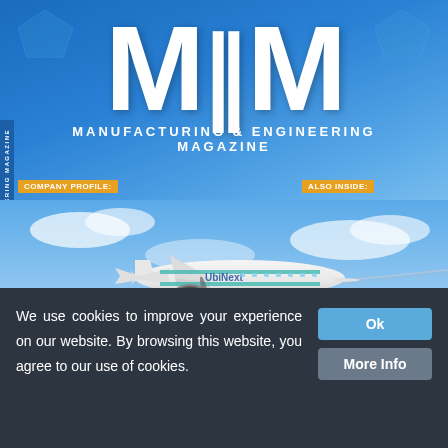MEM MANUFACTURING & ENGINEERING MAGAZINE
COMPANY PROFILE: SIMMTRONIC Investing, enhancing & expanding to ensure complete long-term satisfaction
ALSO INSIDE: UK METALS EXPO The only event that brings together the entire metals supply chain
[Figure (illustration): UbiNext branded small passenger aircraft flying in blue sky with clouds]
We use cookies to improve your experience on our website. By browsing this website, you agree to our use of cookies.